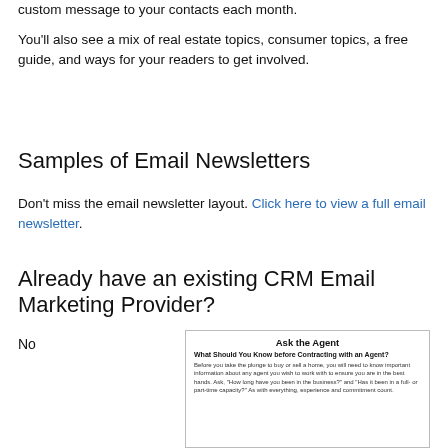custom message to your contacts each month.
You'll also see a mix of real estate topics, consumer topics, a free guide, and ways for your readers to get involved.
Samples of Email Newsletters
Don't miss the email newsletter layout. Click here to view a full email newsletter.
Already have an existing CRM Email Marketing Provider?
No
[Figure (screenshot): Newsletter sample image titled 'Ask the Agent' with subtitle 'What Should You Know before Contracting with an Agent?' and body text about buying or selling a home.]